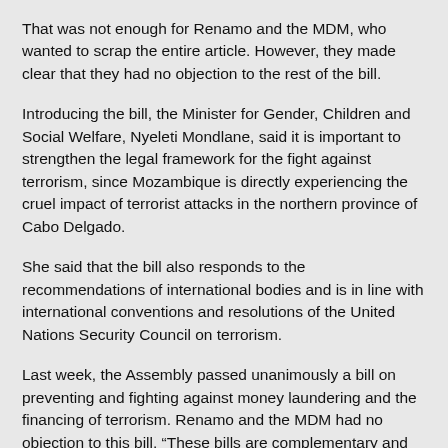That was not enough for Renamo and the MDM, who wanted to scrap the entire article. However, they made clear that they had no objection to the rest of the bill.
Introducing the bill, the Minister for Gender, Children and Social Welfare, Nyeleti Mondlane, said it is important to strengthen the legal framework for the fight against terrorism, since Mozambique is directly experiencing the cruel impact of terrorist attacks in the northern province of Cabo Delgado.
She said that the bill also responds to the recommendations of international bodies and is in line with international conventions and resolutions of the United Nations Security Council on terrorism.
Last week, the Assembly passed unanimously a bill on preventing and fighting against money laundering and the financing of terrorism. Renamo and the MDM had no objection to this bill. “These bills are complementary and strengthen each other”, said Mondlane.